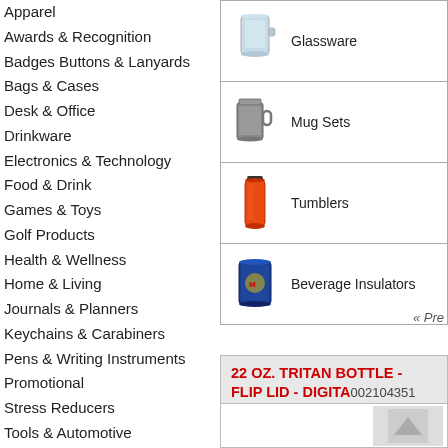Apparel
Awards & Recognition
Badges Buttons & Lanyards
Bags & Cases
Desk & Office
Drinkware
Electronics & Technology
Food & Drink
Games & Toys
Golf Products
Health & Wellness
Home & Living
Journals & Planners
Keychains & Carabiners
Pens & Writing Instruments
Promotional
Stress Reducers
Tools & Automotive
Travels & Textiles
[Figure (photo): Glassware product image with text label]
[Figure (photo): Mug Sets product image with text label]
[Figure (photo): Tumblers product image - orange water bottle]
[Figure (photo): Beverage Insulators product image - blue printed cup]
« Pre
22 OZ. TRITAN BOTTLE - FLIP LID - DIGITA 002104351